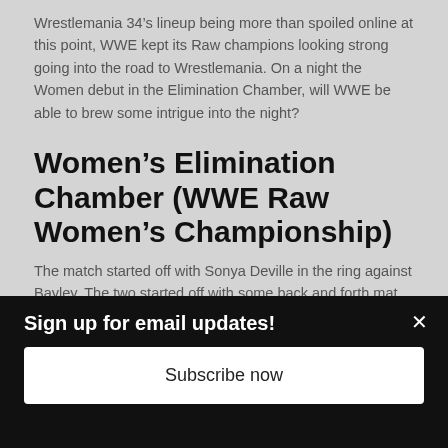Wrestlemania 34’s lineup being more than spoiled online at this point, WWE kept its Raw champions looking strong going into the road to Wrestlemania. On a night the Women debut in the Elimination Chamber, will WWE be able to brew some intrigue into the night?
Women’s Elimination Chamber (WWE Raw Women’s Championship)
The match started off with Sonya Deville in the ring against Bayley. The two started off with some back and forth mat work that came off awkward at first, but the two got more into a rhythm outside the ring. Mandy Rose soon joins the two, and
Sign up for email updates!
Subscribe now